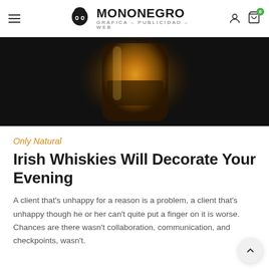MONONEGRO GRÁFICA – PUBLICIDAD – WEB
[Figure (photo): Dark background hero image showing a blurred whiskey bottle with amber/golden color tones, photographed against a black background.]
Only Natural
Irish Whiskies Will Decorate Your Evening
A client that's unhappy for a reason is a problem, a client that's unhappy though he or her can't quite put a finger on it is worse. Chances are there wasn't collaboration, communication, and checkpoints, wasn't.